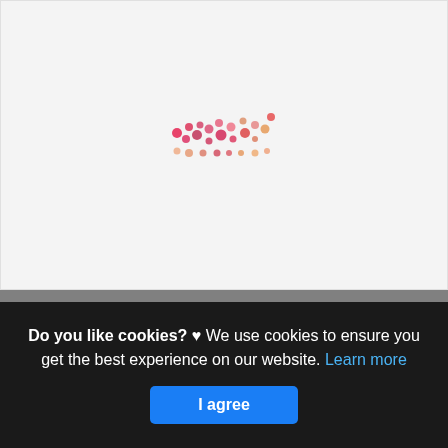[Figure (other): Loading animation with scattered pink and salmon colored dots arranged in a wave/swoosh pattern on a light gray background]
Mobile Legends: Bang Bang redeem codes (August
Source: www.pocketgamer.com
Do you like cookies? ♥ We use cookies to ensure you get the best experience on our website. Learn more
I agree